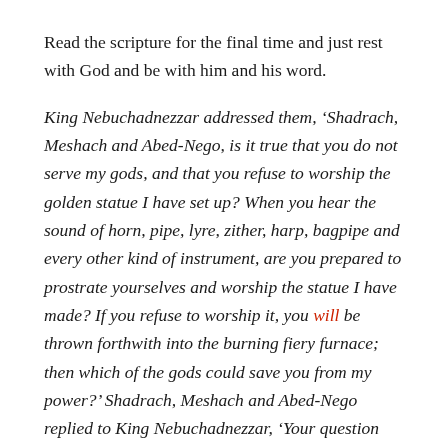Read the scripture for the final time and just rest with God and be with him and his word.
King Nebuchadnezzar addressed them, ‘Shadrach, Meshach and Abed-Nego, is it true that you do not serve my gods, and that you refuse to worship the golden statue I have set up? When you hear the sound of horn, pipe, lyre, zither, harp, bagpipe and every other kind of instrument, are you prepared to prostrate yourselves and worship the statue I have made? If you refuse to worship it, you will be thrown forthwith into the burning fiery furnace; then which of the gods could save you from my power?’ Shadrach, Meshach and Abed-Nego replied to King Nebuchadnezzar, ‘Your question needs no answer from us: if our God, the one we serve, is able to save us from the burning fiery